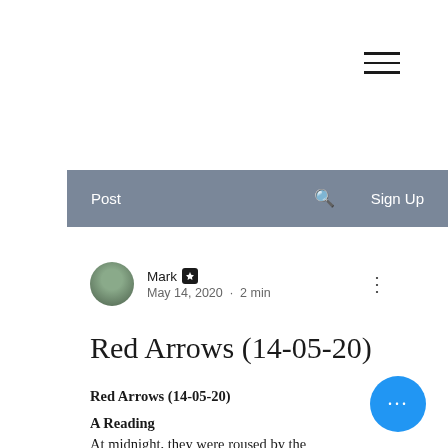≡ (hamburger menu icon)
Post  🔍  Sign Up
Mark ✦
May 14, 2020 · 2 min
Red Arrows (14-05-20)
Red Arrows (14-05-20)
A Reading
At midnight, they were roused by the